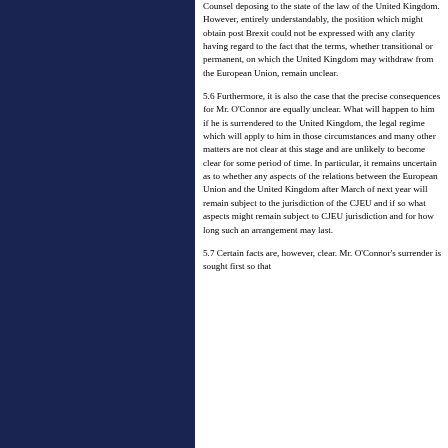Counsel deposing to the state of the law of the United Kingdom. However, entirely understandably, the position which might obtain post Brexit could not be expressed with any clarity having regard to the fact that the terms, whether transitional or permanent, on which the United Kingdom may withdraw from the European Union, remain unclear.
5.6 Furthermore, it is also the case that the precise consequences for Mr. O'Connor are equally unclear. What will happen to him if he is surrendered to the United Kingdom, the legal regime which will apply to him in those circumstances and many other matters are not clear at this stage and are unlikely to become clear for some period of time. In particular, it remains uncertain as to whether any aspects of the relations between the European Union and the United Kingdom after March of next year will remain subject to the jurisdiction of the CJEU and if so what aspects might remain subject to CJEU jurisdiction and for how long such an arrangement may last.
5.7 Certain facts are, however, clear. Mr. O'Connor's surrender is sought first so that